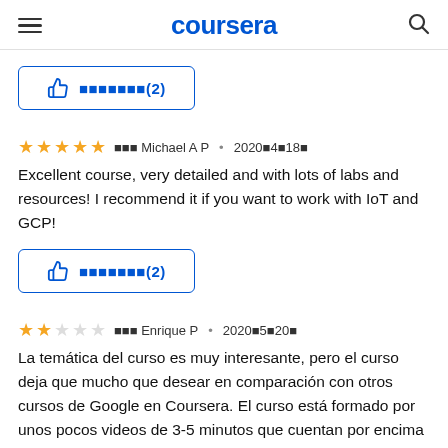coursera
[Figure (other): Helpful button with thumbs up icon and text showing (2) helpful votes, blue border]
★★★★★ 审核 Michael A P • 2020年4月18日
Excellent course, very detailed and with lots of labs and resources! I recommend it if you want to work with IoT and GCP!
[Figure (other): Helpful button with thumbs up icon and text showing (2) helpful votes, blue border]
★★☆☆☆ 审核 Enrique P • 2020年5月20日
La temática del curso es muy interesante, pero el curso deja que mucho que desear en comparación con otros cursos de Google en Coursera. El curso está formado por unos pocos videos de 3-5 minutos que cuentan por encima y de manera muy rápida que son cada una de las herramientas que se